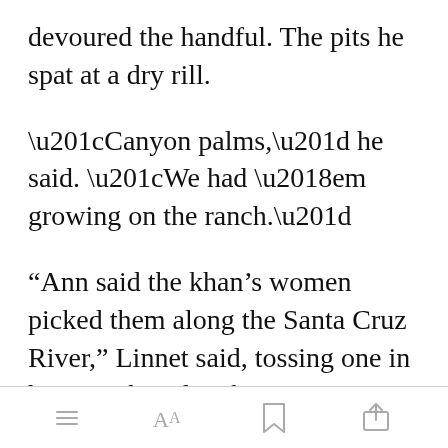devoured the handful. The pits he spat at a dry rill.
“Canyon palms,” he said. “We had ‘em growing on the ranch.”
“Ann said the khan’s women picked them along the Santa Cruz River,” Linnet said, tossing one in her mouth and making Nina giggle. “They’re trying [Open in app] to grow foreign
Open in app | toolbar icons